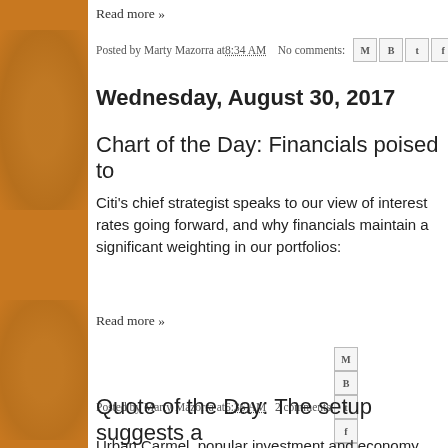Read more »
Posted by Marty Mazorra at 8:34 AM   No comments:
Wednesday, August 30, 2017
Chart of the Day: Financials poised to...
Citi's chief strategist speaks to our view of interest rates going forward, and why financials maintain a significant weighting in our portfolios:
Read more »
Posted by Marty Mazorra at 6:36 AM   2 comments:
Quote of the Day: The setup suggests a run...
Urban Carmel, popular investment and economy...